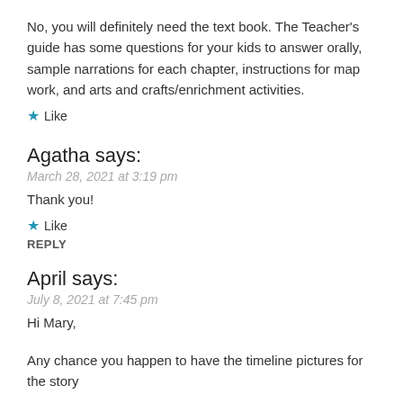No, you will definitely need the text book. The Teacher's guide has some questions for your kids to answer orally, sample narrations for each chapter, instructions for map work, and arts and crafts/enrichment activities.
★ Like
Agatha says:
March 28, 2021 at 3:19 pm
Thank you!
★ Like
REPLY
April says:
July 8, 2021 at 7:45 pm
Hi Mary,
Any chance you happen to have the timeline pictures for the story